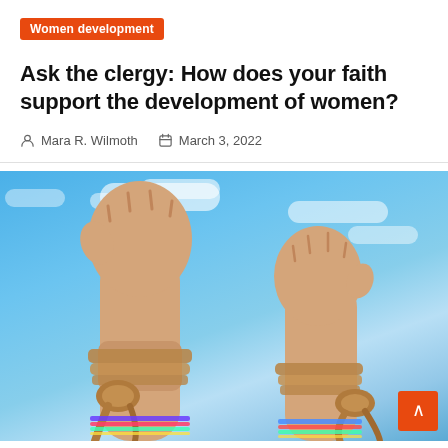Women development
Ask the clergy: How does your faith support the development of women?
Mara R. Wilmoth   March 3, 2022
[Figure (photo): Two raised fists bound with rope and colorful bracelets against a blue sky, symbolizing women's struggle for freedom and empowerment.]